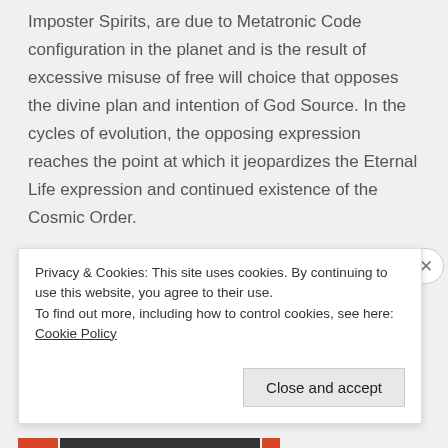Imposter Spirits, are due to Metatronic Code configuration in the planet and is the result of excessive misuse of free will choice that opposes the divine plan and intention of God Source. In the cycles of evolution, the opposing expression reaches the point at which it jeopardizes the Eternal Life expression and continued existence of the Cosmic Order.

Metatronic Reversal means to digress from the
Privacy & Cookies: This site uses cookies. By continuing to use this website, you agree to their use.
To find out more, including how to control cookies, see here: Cookie Policy